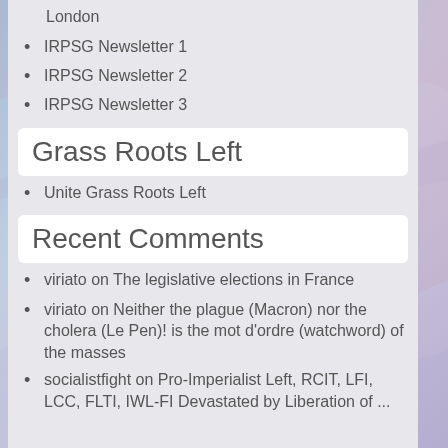London
IRPSG Newsletter 1
IRPSG Newsletter 2
IRPSG Newsletter 3
Grass Roots Left
Unite Grass Roots Left
Recent Comments
viriato on The legislative elections in France
viriato on Neither the plague (Macron) nor the cholera (Le Pen)!  is the mot d'ordre (watchword) of the masses
socialistfight on Pro-Imperialist Left, RCIT, LFI, LCC, FLTI, IWL-FI Devastated by Liberation of ...